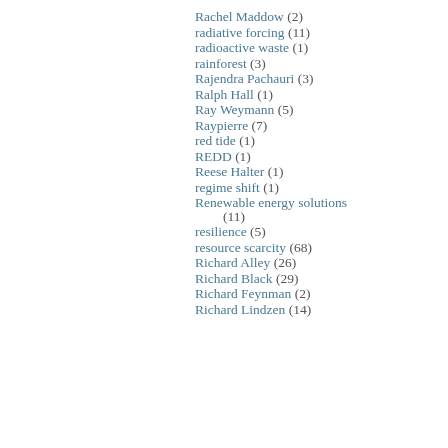Rachel Maddow (2)
radiative forcing (11)
radioactive waste (1)
rainforest (3)
Rajendra Pachauri (3)
Ralph Hall (1)
Ray Weymann (5)
Raypierre (7)
red tide (1)
REDD (1)
Reese Halter (1)
regime shift (1)
Renewable energy solutions (11)
resilience (5)
resource scarcity (68)
Richard Alley (26)
Richard Black (29)
Richard Feynman (2)
Richard Lindzen (14)